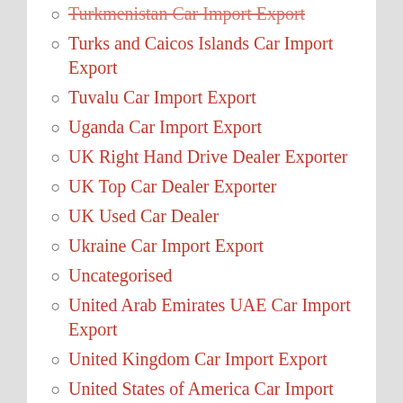Turkmenistan Car Import Export
Turks and Caicos Islands Car Import Export
Tuvalu Car Import Export
Uganda Car Import Export
UK Right Hand Drive Dealer Exporter
UK Top Car Dealer Exporter
UK Used Car Dealer
Ukraine Car Import Export
Uncategorised
United Arab Emirates UAE Car Import Export
United Kingdom Car Import Export
United States of America Car Import Export
United States Virgin Islands Car Import